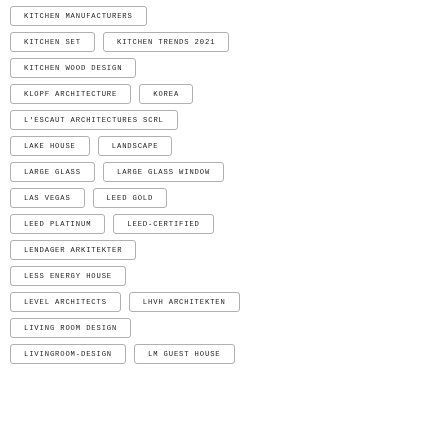KITCHEN MANUFACTURERS
KITCHEN SET
KITCHEN TRENDS 2021
KITCHEN WOOD DESIGN
KLOPF ARCHITECTURE
KOREA
L'ESCAUT ARCHITECTURES SCRL
LAKE HOUSE
LANDSCAPE
LARGE GLASS
LARGE GLASS WINDOW
LAS VEGAS
LEED GOLD
LEED PLATINUM
LEED-CERTIFIED
LENDAGER ARKITEKTER
LESS ENERGY HOUSE
LEVEL ARCHITECTS
LHVH ARCHITEKTEN
LIVING ROOM DESIGN
LIVINGROOM-DESIGN
LM GUEST HOUSE